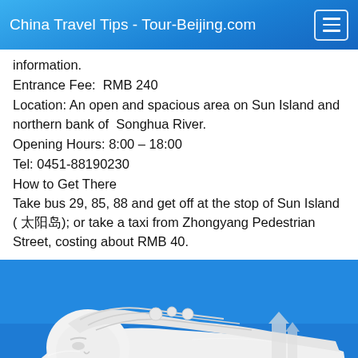China Travel Tips - Tour-Beijing.com
information.
Entrance Fee:  RMB 240
Location: An open and spacious area on Sun Island and northern bank of  Songhua River.
Opening Hours: 8:00 – 18:00
Tel: 0451-88190230
How to Get There
Take bus 29, 85, 88 and get off at the stop of Sun Island ( 太阳岛); or take a taxi from Zhongyang Pedestrian Street, costing about RMB 40.
[Figure (photo): A large white snow sculpture of a reclining woman figure with elaborate hair, against a clear blue sky. Red Chinese characters visible at the bottom. Buildings visible in the background.]